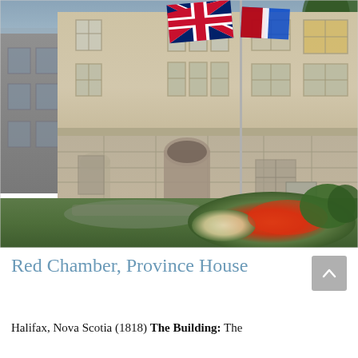[Figure (photo): Exterior photograph of Province House in Halifax, Nova Scotia. A large neoclassical stone building with multiple floors of rectangular windows, arched accents on the lower level, and a British Union Jack flag and another flag on a pole in front. The foreground shows a well-maintained green lawn with a curved flower bed of red and white flowers on the right side.]
Red Chamber, Province House
Halifax, Nova Scotia (1818) The Building: The